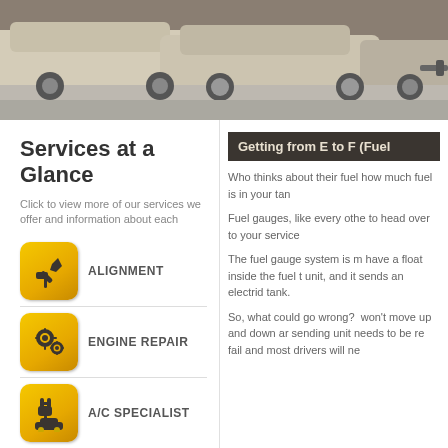[Figure (photo): Photo banner showing cars parked in a parking lot or garage, viewed from the rear, beige/tan colored vehicles on a concrete surface.]
Services at a Glance
Click to view more of our services we offer and information about each
ALIGNMENT
ENGINE REPAIR
A/C SPECIALIST
Getting from E to F (Fuel
Who thinks about their fuel how much fuel is in your tan
Fuel gauges, like every othe to head over to your service
The fuel gauge system is m have a float inside the fuel t unit, and it sends an electrid tank.
So, what could go wrong? won't move up and down ar sending unit needs to be re fail and most drivers will ne